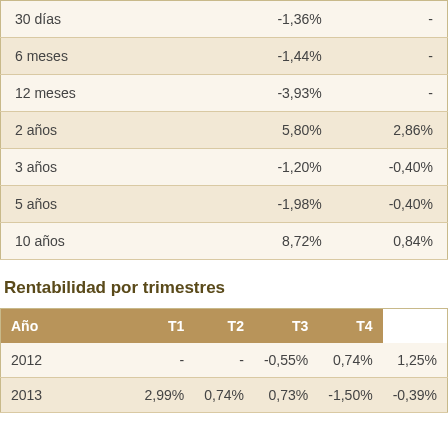|  |  |  |
| --- | --- | --- |
| 30 días | -1,36% | - |
| 6 meses | -1,44% | - |
| 12 meses | -3,93% | - |
| 2 años | 5,80% | 2,86% |
| 3 años | -1,20% | -0,40% |
| 5 años | -1,98% | -0,40% |
| 10 años | 8,72% | 0,84% |
Rentabilidad por trimestres
| Año | T1 | T2 | T3 | T4 |
| --- | --- | --- | --- | --- |
| 2012 | - | - | -0,55% | 0,74% | 1,25% |
| 2013 | 2,99% | 0,74% | 0,73% | -1,50% | -0,39% |